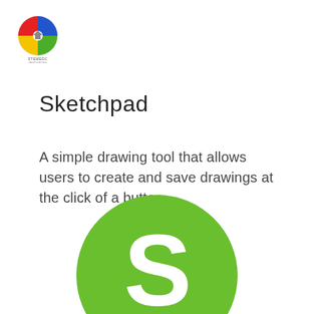[Figure (logo): Circular logo with colorful quadrant design (red, blue, yellow, green) and small text beneath it, positioned in top-left corner]
Sketchpad
A simple drawing tool that allows users to create and save drawings at the click of a button
[Figure (logo): Large green circle with white letter S in the center, partially cropped at the bottom of the page]